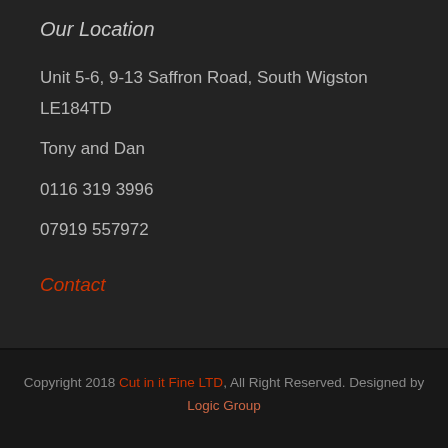Our Location
Unit 5-6, 9-13 Saffron Road, South Wigston LE184TD
Tony and Dan
0116 319 3996
07919 557972
Contact
Copyright 2018 Cut in it Fine LTD, All Right Reserved. Designed by Logic Group
[Figure (other): Social media icons: Facebook (f) and Google+ (G+)]
[Figure (other): Back to top arrow button (upward arrow in dark square)]